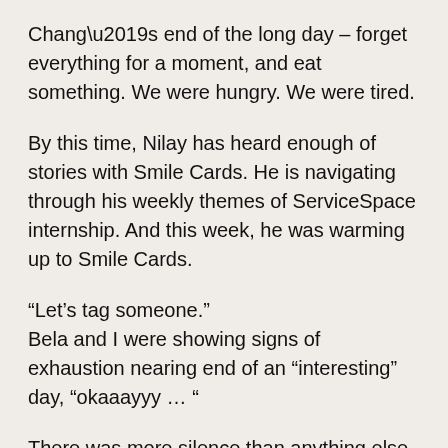Chang’s end of the long day – forget everything for a moment, and eat something. We were hungry. We were tired.
By this time, Nilay has heard enough of stories with Smile Cards. He is navigating through his weekly themes of ServiceSpace internship. And this week, he was warming up to Smile Cards.
“Let’s tag someone.”
Bela and I were showing signs of exhaustion nearing end of an “interesting” day, “okaaayyy … “
There was more silence than anything else that day. We wanted to eat something and crash.
But, idea felt good. Bela said, “Let’s tip something special to the waiter.”
Nilay, “That’s good.”